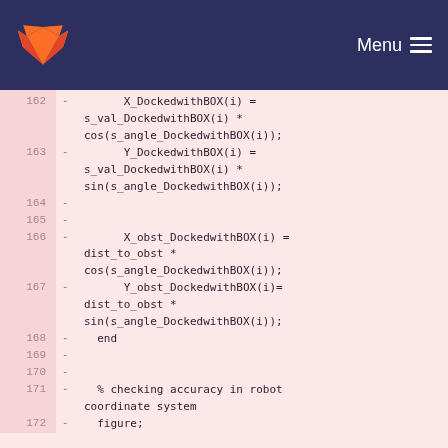GitLab — Menu
Code diff showing lines 162-172 of a MATLAB/Octave file with coordinate calculations for docked BOX objects
162  -  X_DockedwithBOX(i) = s_val_DockedwithBOX(i) * cos(s_angle_DockedwithBOX(i));
163  -  Y_DockedwithBOX(i) = s_val_DockedwithBOX(i) * sin(s_angle_DockedwithBOX(i));
164  -
165  -
166  -  X_obst_DockedwithBOX(i) = dist_to_obst * cos(s_angle_DockedwithBOX(i));
167  -  Y_obst_DockedwithBOX(i)= dist_to_obst * sin(s_angle_DockedwithBOX(i));
168  -  end
169  -
170  -
171  -  % checking accuracy in robot coordinate system
172  -  figure;